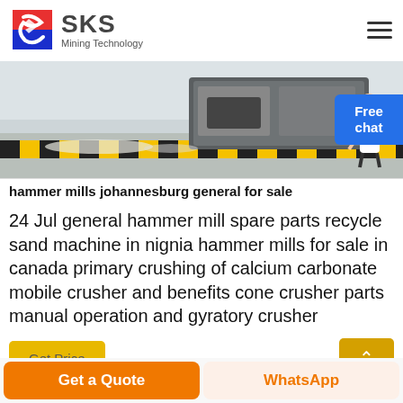SKS Mining Technology
[Figure (photo): Industrial milling or crushing machine on a factory floor with yellow and black safety striping and white material/chips scattered below.]
hammer mills johannesburg general for sale
24 Jul general hammer mill spare parts recycle sand machine in nignia hammer mills for sale in canada primary crushing of calcium carbonate mobile crusher and benefits cone crusher parts manual operation and gyratory crusher
Get Price
Free chat
Get a Quote
WhatsApp